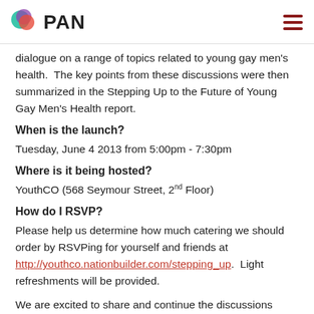PAN
dialogue on a range of topics related to young gay men's health.  The key points from these discussions were then summarized in the Stepping Up to the Future of Young Gay Men's Health report.
When is the launch?
Tuesday, June 4 2013 from 5:00pm - 7:30pm
Where is it being hosted?
YouthCO (568 Seymour Street, 2nd Floor)
How do I RSVP?
Please help us determine how much catering we should order by RSVPing for yourself and friends at http://youthco.nationbuilder.com/stepping_up.  Light refreshments will be provided.
We are excited to share and continue the discussions around young gay men's health.  Come to the launch to